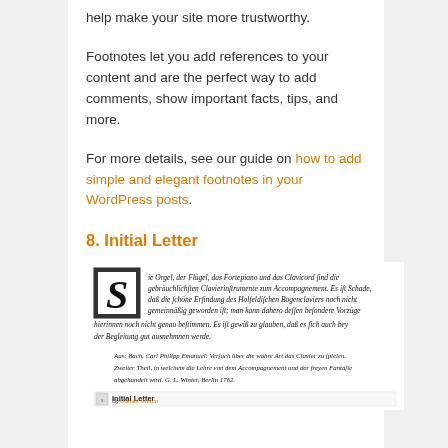help make your site more trustworthy.
Footnotes let you add references to your content and are the perfect way to add comments, show important facts, tips, and more.
For more details, see our guide on how to add simple and elegant footnotes in your WordPress posts.
8. Initial Letter
[Figure (illustration): Screenshot of an Initial Letter example showing ornate drop cap 'S' with Fraktur/blackletter German text from Bach, Carl Philipp Emanuel about clavier playing, Berlin 1762.]
Initial Letter
By Garrett Grimm